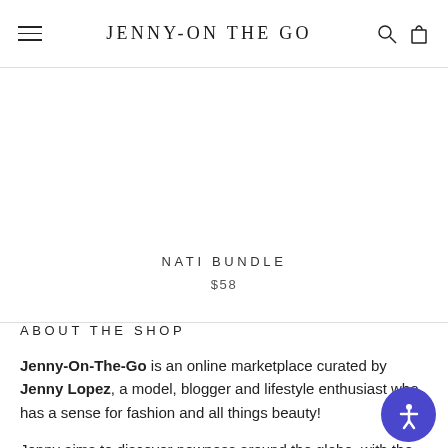JENNY-ON THE GO
NATI BUNDLE
$58
ABOUT THE SHOP
Jenny-On-The-Go is an online marketplace curated by Jenny Lopez, a model, blogger and lifestyle enthusiast who has a sense for fashion and all things beauty!
Jenny aims to discover newness around the globe, with the goal of